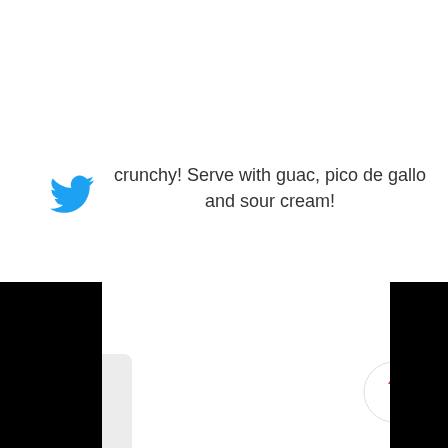[Figure (logo): Twitter bird logo icon in blue]
crunchy! Serve with guac, pico de gallo and sour cream!
PREVIOUS POST
NEXT POST
[Figure (other): Broken image placeholder with small thumbnail icon]
[Figure (logo): VK social network logo icon]
[Figure (other): Scroll to top button - circle with upward arrow]